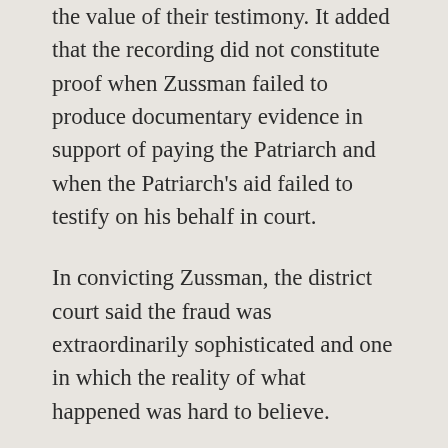the value of their testimony. It added that the recording did not constitute proof when Zussman failed to produce documentary evidence in support of paying the Patriarch and when the Patriarch's aid failed to testify on his behalf in court.
In convicting Zussman, the district court said the fraud was extraordinarily sophisticated and one in which the reality of what happened was hard to believe.
At an earlier stage when the Supreme Court stiffened Rabinovich's prison sentence from four to six years, it called the plot one of the largest and most cunning real estate frauds in the state's history.